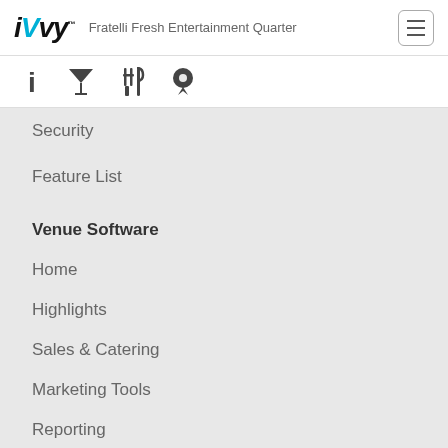iVvy™ Fratelli Fresh Entertainment Quarter
Security
Feature List
Venue Software
Home
Highlights
Sales & Catering
Marketing Tools
Reporting
Groups
Security
Feature List